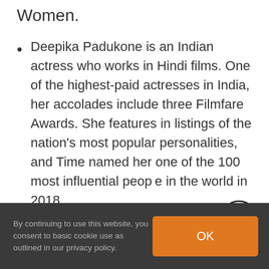Women.
Deepika Padukone is an Indian actress who works in Hindi films. One of the highest-paid actresses in India, her accolades include three Filmfare Awards. She features in listings of the nation's most popular personalities, and Time named her one of the 100 most influential people in the world in 2018.
Add to calendar
By continuing to use this website, you consent to basic cookie use as outlined in our privacy policy.
OK